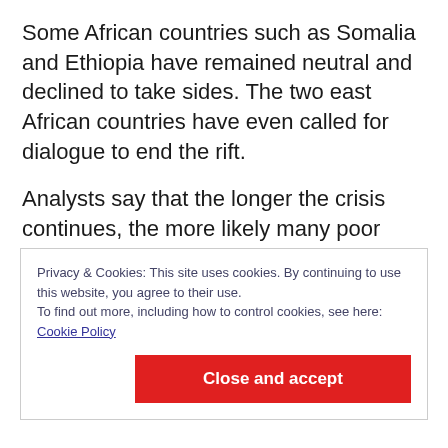Some African countries such as Somalia and Ethiopia have remained neutral and declined to take sides. The two east African countries have even called for dialogue to end the rift.
Analysts say that the longer the crisis continues, the more likely many poor African countries will be dragged into it.
“African leaders have to show more muscle and must remain neutral. They should put aside all
Privacy & Cookies: This site uses cookies. By continuing to use this website, you agree to their use.
To find out more, including how to control cookies, see here: Cookie Policy